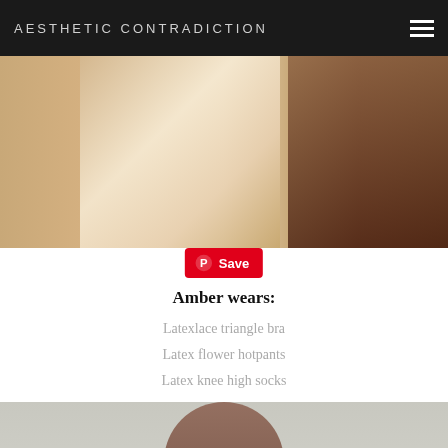AESTHETIC CONTRADICTION
[Figure (photo): Fashion photo showing a model wearing cream/white latex bodysuit and hotpants with floral details, photographed from behind/side]
Save
Amber wears:
Latexlace triangle bra
Latex flower hotpants
Latex knee high socks
[Figure (photo): Fashion photo showing a model with long dark hair wearing dark makeup, photographed against a light textured background]